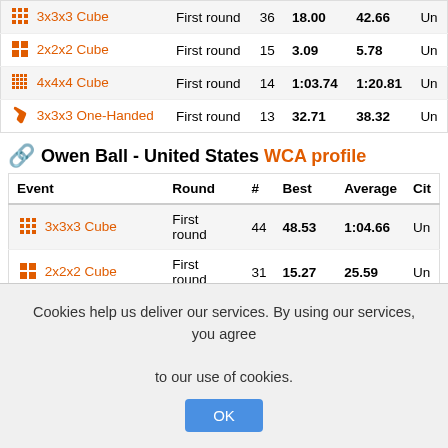| Event | Round | # | Best | Average | Cit |
| --- | --- | --- | --- | --- | --- |
| 3x3x3 Cube | First round | 36 | 18.00 | 42.66 | Un |
| 2x2x2 Cube | First round | 15 | 3.09 | 5.78 | Un |
| 4x4x4 Cube | First round | 14 | 1:03.74 | 1:20.81 | Un |
| 3x3x3 One-Handed | First round | 13 | 32.71 | 38.32 | Un |
Owen Ball - United States WCA profile
| Event | Round | # | Best | Average | Cit |
| --- | --- | --- | --- | --- | --- |
| 3x3x3 Cube | First round | 44 | 48.53 | 1:04.66 | Un |
| 2x2x2 Cube | First round | 31 | 15.27 | 25.59 | Un |
| 3x3x3 One-Handed | First round | 25 | 1:51.02 | 3:25.09 | Un |
Owen Dostie - United States WCA profile
Cookies help us deliver our services. By using our services, you agree to our use of cookies.